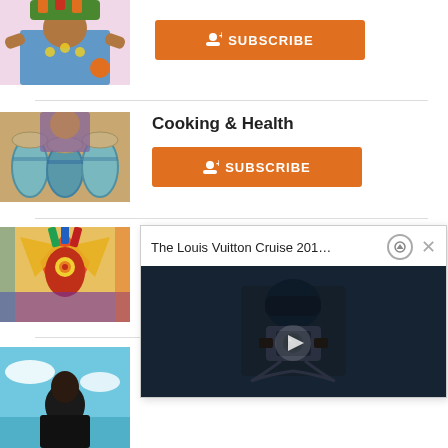[Figure (photo): Thumbnail of woman wearing colorful headdress and traditional costume]
[Figure (other): Orange Subscribe button with person-add icon]
[Figure (photo): Thumbnail of person playing traditional drums in colorful clothing]
Cooking & Health
[Figure (other): Orange Subscribe button with person-add icon]
[Figure (photo): Thumbnail of colorful carnival costume figure]
[Figure (photo): Thumbnail of person portrait]
[Figure (screenshot): Popup overlay showing 'The Louis Vuitton Cruise 201...' with a video thumbnail of a person in black holding a camera in dark setting, with up arrow and close button]